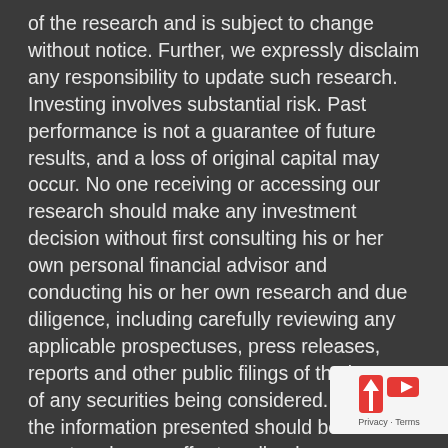of the research and is subject to change without notice. Further, we expressly disclaim any responsibility to update such research. Investing involves substantial risk. Past performance is not a guarantee of future results, and a loss of original capital may occur. No one receiving or accessing our research should make any investment decision without first consulting his or her own personal financial advisor and conducting his or her own research and due diligence, including carefully reviewing any applicable prospectuses, press releases, reports and other public filings of the issuer of any securities being considered. None of the information presented should be construed as an offer to sell or buy any particular security. As always, use your best judgment when investing.
Disclaimer: Past performance is no guarantee of future performance. This product is for educational purposes. Practical application of the products herein are at your risk and dailymarketnews.net, its partners, representatives